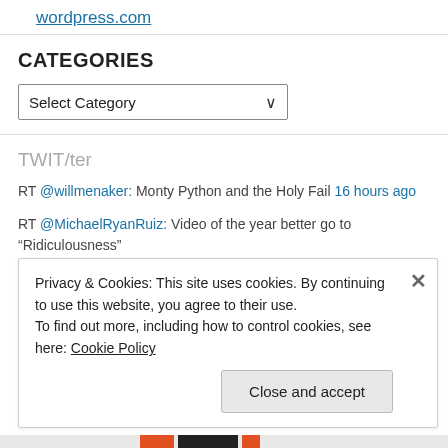wordpress.com
CATEGORIES
Select Category
TWIT/ter
RT @willmenaker: Monty Python and the Holy Fail 16 hours ago
RT @MichaelRyanRuiz: Video of the year better go to “Ridiculousness” 2 days ago
Privacy & Cookies: This site uses cookies. By continuing to use this website, you agree to their use. To find out more, including how to control cookies, see here: Cookie Policy
Close and accept